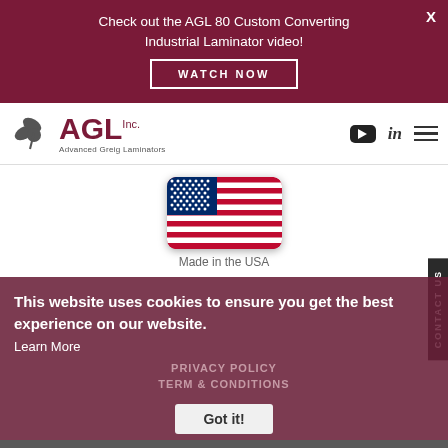Check out the AGL 80 Custom Converting Industrial Laminator video!
WATCH NOW
[Figure (logo): AGL Inc. Advanced Greig Laminators logo with leaf/flower icon]
[Figure (illustration): USA flag emoji/icon]
Made in the USA
This website uses cookies to ensure you get the best experience on our website.
Learn More
PRIVACY POLICY
TERM & CONDITIONS
Got it!
Interested in this product? Contact us today to get a quote!